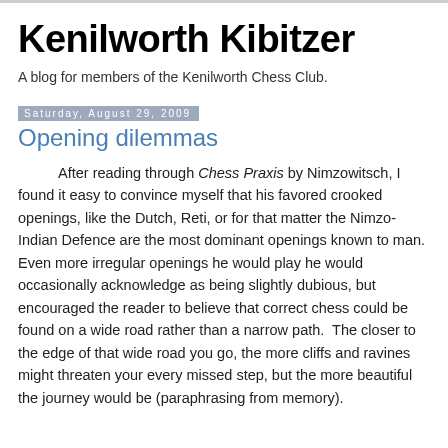Kenilworth Kibitzer
A blog for members of the Kenilworth Chess Club.
Saturday, August 29, 2009
Opening dilemmas
After reading through Chess Praxis by Nimzowitsch, I found it easy to convince myself that his favored crooked openings, like the Dutch, Reti, or for that matter the Nimzo-Indian Defence are the most dominant openings known to man.  Even more irregular openings he would play he would occasionally acknowledge as being slightly dubious, but encouraged the reader to believe that correct chess could be found on a wide road rather than a narrow path.  The closer to the edge of that wide road you go, the more cliffs and ravines might threaten your every missed step, but the more beautiful the journey would be (paraphrasing from memory).